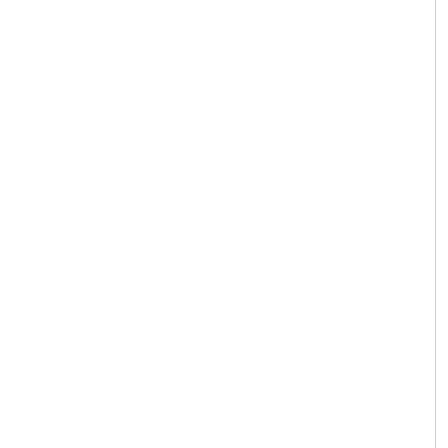LD_LIBRARY_PATH=${SIEBEL_ROOT}/ldap/V6.0/lib:${MWHOME}/lib:${SQLAN...
else
LD_LIBRARY_PATH=${SIEBEL_ROOT}/ldap/V6.0/lib:${MWHOME}/lib:${SQLAN...
Fi
After making this change LDAP Authentication... 1LDF7SJ was logged for a documentation...
Applies to:
Siebel CRM - Version 7.5.3.4 [16180] and...
Information in this document applies to a...
*** Checked for relevance on 29-JAN-20...
Symptoms
Customer is trying to implement the LDA... with the Siebel application.  The applicati... screen and the following error is appearin...